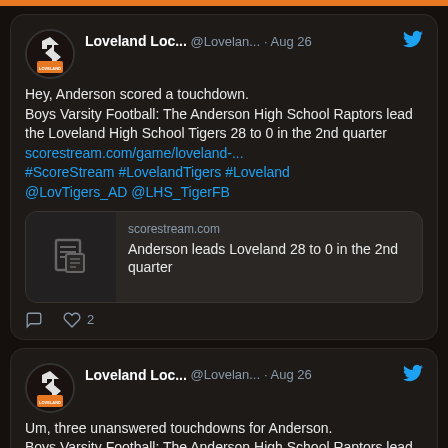[Figure (screenshot): Twitter/social media feed screenshot showing two tweets from Loveland Local News account about a high school football game between Anderson High School Raptors and Loveland High School Tigers on Aug 26. First tweet: 'Hey, Anderson scored a touchdown. Boys Varsity Football: The Anderson High School Raptors lead the Loveland High School Tigers 28 to 0 in the 2nd quarter' with link preview to scorestream.com. Second tweet (partially visible): 'Um, three unanswered touchdowns for Anderson. Boys Varsity Football: The Anderson High School...'. Page has orange top bar and dark background.]